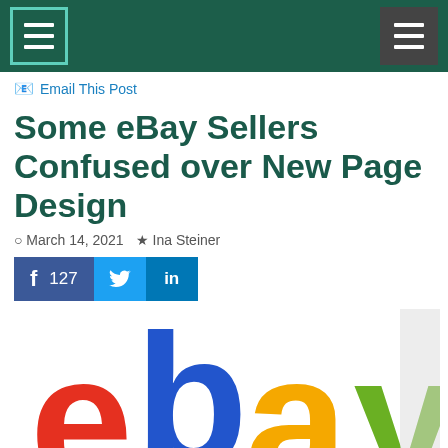Navigation bar with hamburger menus
Email This Post
Some eBay Sellers Confused over New Page Design
March 14, 2021  Ina Steiner
[Figure (infographic): Social sharing buttons: Facebook with count 127, Twitter, LinkedIn]
[Figure (logo): eBay logo with colorful letters: red e, blue b, yellow a, green y]